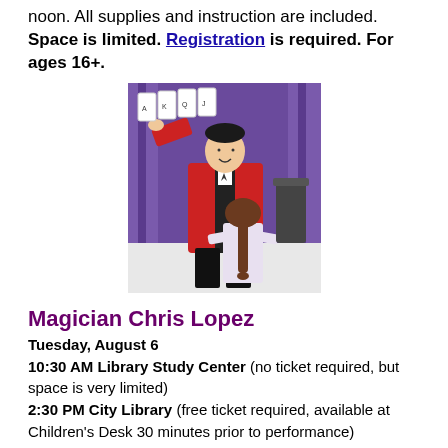noon. All supplies and instruction are included. Space is limited. Registration is required. For ages 16+.
[Figure (photo): A male magician in a red jacket holding up cards and performing a trick for a young girl with a braid, in front of a purple curtain backdrop.]
Magician Chris Lopez
Tuesday, August 6
10:30 AM Library Study Center (no ticket required, but space is very limited)
2:30 PM City Library (free ticket required, available at Children's Desk 30 minutes prior to performance)
No matter your age, magic makes everyone smile. Bring the family out to one of our two events featuring magician Chris Lopez and get ready to see what he's got up his sleeve! For families.